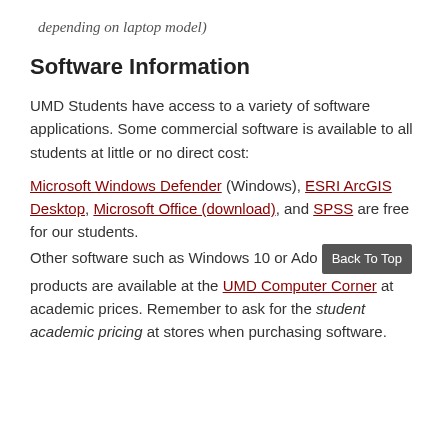depending on laptop model)
Software Information
UMD Students have access to a variety of software applications. Some commercial software is available to all students at little or no direct cost:
Microsoft Windows Defender (Windows), ESRI ArcGIS Desktop, Microsoft Office (download), and SPSS are free for our students. Other software such as Windows 10 or Adobe products are available at the UMD Computer Corner at academic prices. Remember to ask for the student academic pricing at stores when purchasing software.